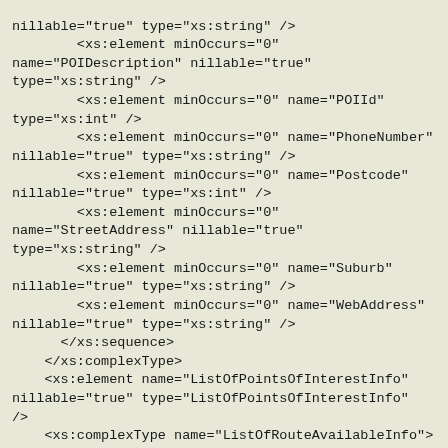nillable="true" type="xs:string" />
        <xs:element minOccurs="0" name="POIDescription" nillable="true" type="xs:string" />
        <xs:element minOccurs="0" name="POIId" type="xs:int" />
        <xs:element minOccurs="0" name="PhoneNumber" nillable="true" type="xs:string" />
        <xs:element minOccurs="0" name="Postcode" nillable="true" type="xs:int" />
        <xs:element minOccurs="0" name="StreetAddress" nillable="true" type="xs:string" />
        <xs:element minOccurs="0" name="Suburb" nillable="true" type="xs:string" />
        <xs:element minOccurs="0" name="WebAddress" nillable="true" type="xs:string" />
      </xs:sequence>
    </xs:complexType>
    <xs:element name="ListOfPointsOfInterestInfo" nillable="true" type="ListOfPointsOfInterestInfo" />
    <xs:complexType name="ListOfRouteAvailableInfo">
      <xs:sequence>
        <xs:element minOccurs="0" name="RouteAvailable" type="xs:boolean" />
        <xs:element minOccurs="0" name="RouteNo" nillable="true" type="xs:string" />
      </xs:sequence>
    </xs:complexType>